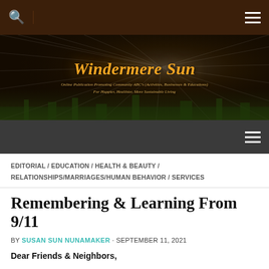Windermere Sun — top navigation bar with search icon and hamburger menu
[Figure (illustration): Hero banner image with starburst light rays effect on dark background showing Windermere Sun logo and subtitle text. Title: Windermere Sun. Subtitle: Online Publication Promoting Community ABC's (Activities, Businesses & Educations) For Happier, Healthier, More Sustainable Living.]
Secondary navigation bar with hamburger menu
EDITORIAL / EDUCATION / HEALTH & BEAUTY / RELATIONSHIPS/MARRIAGES/HUMAN BEHAVIOR / SERVICES
Remembering & Learning From 9/11
BY SUSAN SUN NUNAMAKER · SEPTEMBER 11, 2021
Dear Friends & Neighbors,
Subscribe to Windermere Sun: